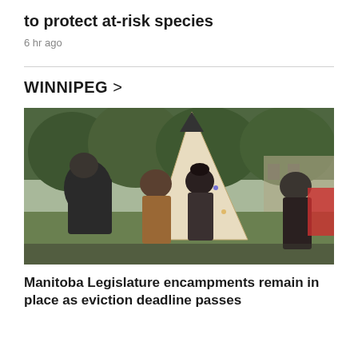to protect at-risk species
6 hr ago
WINNIPEG >
[Figure (photo): Group of people standing and talking outdoors near a tipi/teepee decorated with handprints, with trees and a stone building in the background. One person wears a quilted black jacket, another a plaid shirt, and a woman in a dark jacket stands to the right.]
Manitoba Legislature encampments remain in place as eviction deadline passes